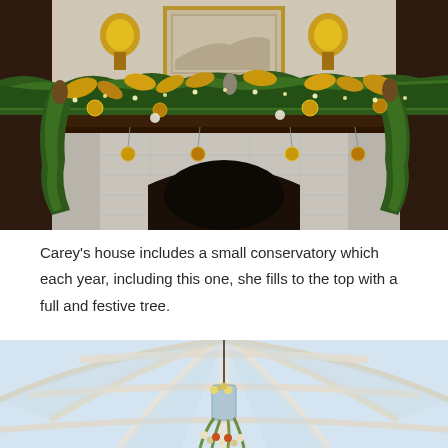[Figure (photo): A fireplace mantel decorated with lush Christmas garland featuring gold ornaments, magnolia leaves, pine cones, and warm fairy lights. Gold wall sconces flank a framed picture above the mantel. The fireplace surround is white stone with a dark wood mantel.]
Carey's house includes a small conservatory which each year, including this one, she fills to the top with a full and festive tree.
[Figure (photo): Interior view looking up through a white conservatory dome with arched glass panels and structural framing. A decorative pendant with floral/berry arrangement hangs from the center.]